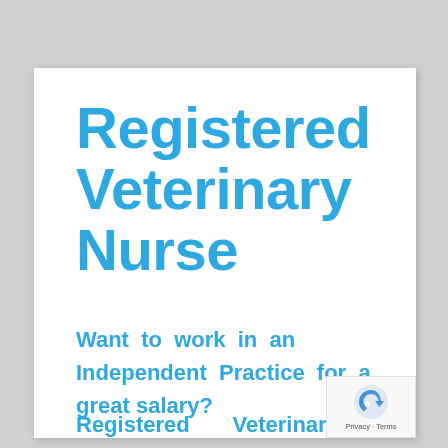Registered Veterinary Nurse
Want to work in an Independent Practice for a great salary?
Registered Veterinary